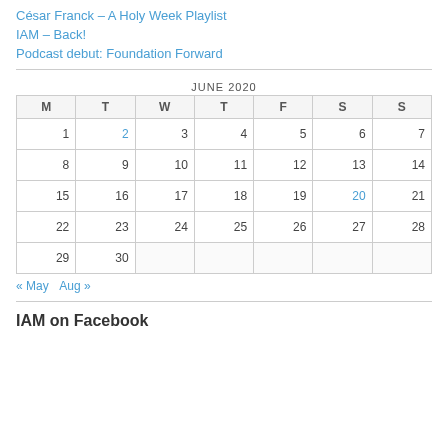César Franck – A Holy Week Playlist
IAM – Back!
Podcast debut: Foundation Forward
| M | T | W | T | F | S | S |
| --- | --- | --- | --- | --- | --- | --- |
| 1 | 2 | 3 | 4 | 5 | 6 | 7 |
| 8 | 9 | 10 | 11 | 12 | 13 | 14 |
| 15 | 16 | 17 | 18 | 19 | 20 | 21 |
| 22 | 23 | 24 | 25 | 26 | 27 | 28 |
| 29 | 30 |  |  |  |  |  |
« May   Aug »
IAM on Facebook